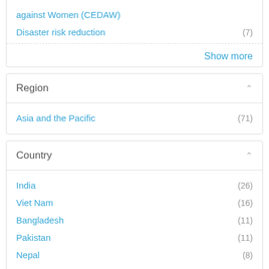against Women (CEDAW)
Disaster risk reduction (7)
Show more
Region
Asia and the Pacific (71)
Country
India (26)
Viet Nam (16)
Bangladesh (11)
Pakistan (11)
Nepal (8)
Philippines (7)
Fiji (6)